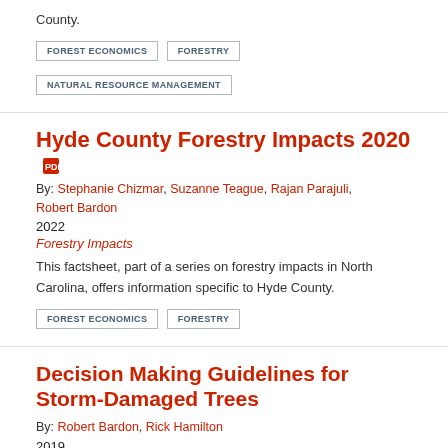County.
FOREST ECONOMICS
FORESTRY
NATURAL RESOURCE MANAGEMENT
Hyde County Forestry Impacts 2020
By: Stephanie Chizmar, Suzanne Teague, Rajan Parajuli, Robert Bardon
2022
Forestry Impacts
This factsheet, part of a series on forestry impacts in North Carolina, offers information specific to Hyde County.
FOREST ECONOMICS
FORESTRY
Decision Making Guidelines for Storm-Damaged Trees
By: Robert Bardon, Rick Hamilton
2019